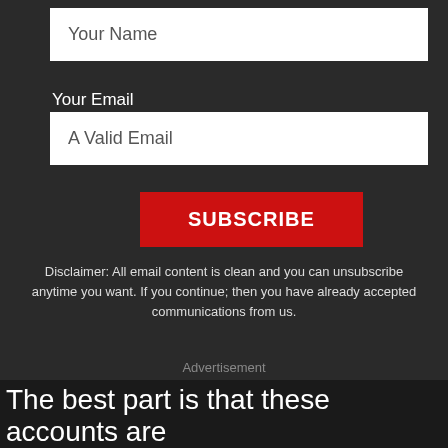Your Name
Your Email
A Valid Email
SUBSCRIBE
Disclaimer: All email content is clean and you can unsubscribe anytime you want. If you continue; then you have already accepted communications from us.
Advertisement
The best part is that these accounts are